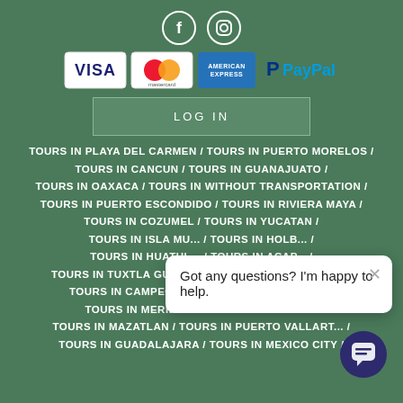[Figure (logo): Social media icons: Facebook and Instagram circles]
[Figure (logo): Payment method icons: VISA, Mastercard, American Express, PayPal]
LOG IN
TOURS IN PLAYA DEL CARMEN / TOURS IN PUERTO MORELOS / TOURS IN CANCUN / TOURS IN GUANAJUATO / TOURS IN OAXACA / TOURS IN WITHOUT TRANSPORTATION / TOURS IN PUERTO ESCONDIDO / TOURS IN RIVIERA MAYA / TOURS IN COZUMEL / TOURS IN YUCATAN / TOURS IN ISLA MU... / TOURS IN HOLB... / TOURS IN HUATUL... / TOURS IN ACAP... / TOURS IN TUXTLA GUTIERREZ / TOURS IN CHETUMAL / TOURS IN CAMPECHE / TOURS IN MANZANILLO / TOURS IN MERIDA / TOURS IN VERACRUZ / TOURS IN MAZATLAN / TOURS IN PUERTO VALLART... / TOURS IN GUADALAJARA / TOURS IN MEXICO CITY /
Got any questions? I'm happy to help.